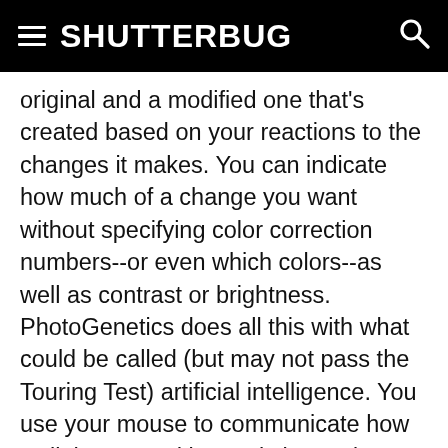SHUTTERBUG
original and a modified one that's created based on your reactions to the changes it makes. You can indicate how much of a change you want without specifying color correction numbers--or even which colors--as well as contrast or brightness. PhotoGenetics does all this with what could be called (but may not pass the Touring Test) artificial intelligence. You use your mouse to communicate how well the second image is better (or worse) than the original and the program makes the necessary digital correction and responds with further enhancements until it is the way you want. This new version includes faster, real-time previewing of enhancements and automatic color shift corrections.